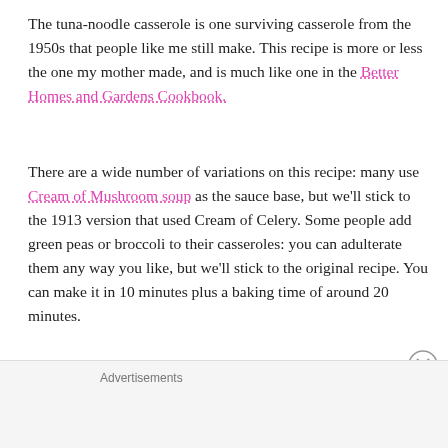The tuna-noodle casserole is one surviving casserole from the 1950s that people like me still make. This recipe is more or less the one my mother made, and is much like one in the Better Homes and Gardens Cookbook.
There are a wide number of variations on this recipe: many use Cream of Mushroom soup as the sauce base, but we'll stick to the 1913 version that used Cream of Celery. Some people add green peas or broccoli to their casseroles: you can adulterate them any way you like, but we'll stick to the original recipe. You can make it in 10 minutes plus a baking time of around 20 minutes.
We make this casserole using half of a 12 oz package of noodles, which works out to about 3 ½ cups. And be sure to
Advertisements